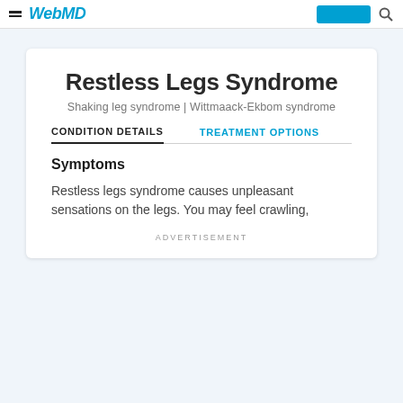WebMD
Restless Legs Syndrome
Shaking leg syndrome | Wittmaack-Ekbom syndrome
CONDITION DETAILS   TREATMENT OPTIONS
Symptoms
Restless legs syndrome causes unpleasant sensations on the legs. You may feel crawling,
ADVERTISEMENT